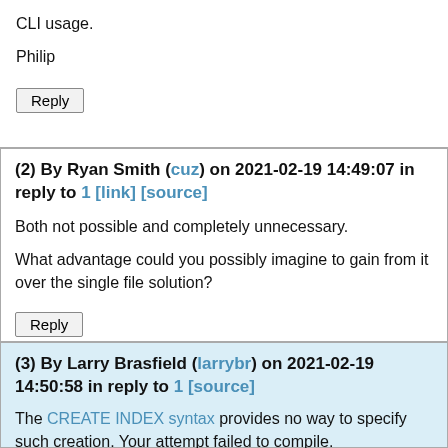CLI usage.

Philip
Reply
(2) By Ryan Smith (cuz) on 2021-02-19 14:49:07 in reply to 1 [link] [source]
Both not possible and completely unnecessary.

What advantage could you possibly imagine to gain from it over the single file solution?
Reply
(3) By Larry Brasfield (larrybr) on 2021-02-19 14:50:58 in reply to 1 [source]
The CREATE INDEX syntax provides no way to specify such creation. Your attempt failed to compile.